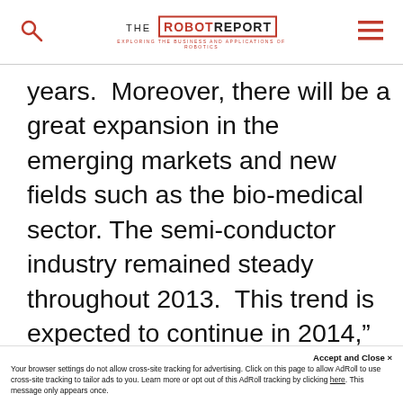THE ROBOT REPORT — EXPLORING THE BUSINESS AND APPLICATIONS OF ROBOTICS
years.  Moreover, there will be a great expansion in the emerging markets and new fields such as the bio-medical sector. The semi-conductor industry remained steady throughout 2013.  This trend is expected to continue in 2014,” said Yoshikatsu Minami, Corporate Vice President and General Manager Robotics Division, Yaskawa Electric, Japan.
Accept and Close × Your browser settings do not allow cross-site tracking for advertising. Click on this page to allow AdRoll to use cross-site tracking to tailor ads to you. Learn more or opt out of this AdRoll tracking by clicking here. This message only appears once.